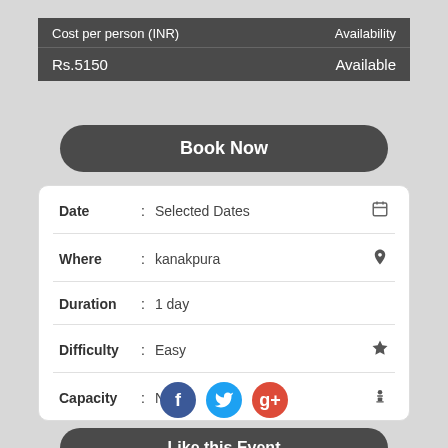| Cost per person (INR) | Availability |
| --- | --- |
| Rs.5150 | Available |
Book Now
| Date | : | Selected Dates |
| Where | : | kanakpura |
| Duration | : | 1 day |
| Difficulty | : | Easy |
| Capacity | : | NA |
Like this Event